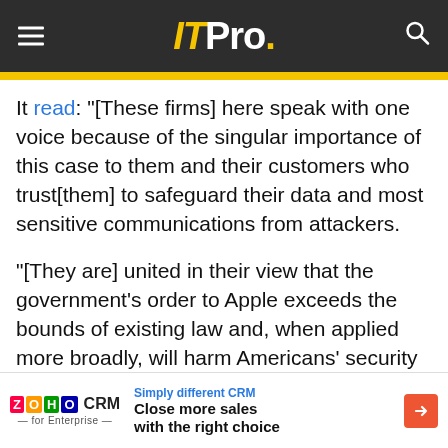IT Pro.
It read: "[These firms] here speak with one voice because of the singular importance of this case to them and their customers who trust[them] to safeguard their data and most sensitive communications from attackers.
"[They are] united in their view that the government's order to Apple exceeds the bounds of existing law and, when applied more broadly, will harm Americans' security in the long run."
Various other amicus briefs which allow outside persons to comment on legal cases - came from
[Figure (other): Zoho CRM advertisement banner: 'Simply different CRM – Close more sales with the right choice']